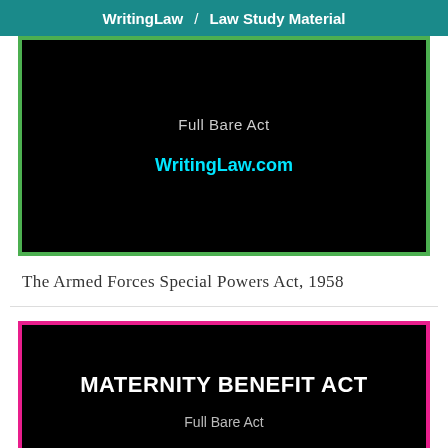WritingLaw / Law Study Material
[Figure (other): Black card with green border showing 'Full Bare Act' and 'WritingLaw.com' text on dark background]
The Armed Forces Special Powers Act, 1958
[Figure (other): Black card with pink/magenta border showing 'MATERNITY BENEFIT ACT' in large bold white text and 'Full Bare Act' subtitle]